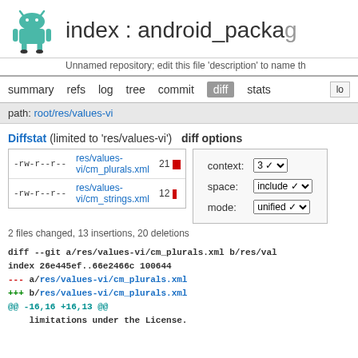index : android_package
Unnamed repository; edit this file 'description' to name th
summary   refs   log   tree   commit   diff   stats   lo
path: root/res/values-vi
Diffstat (limited to 'res/values-vi')  diff options
| perm | file | changes |
| --- | --- | --- |
| -rw-r--r-- | res/values-vi/cm_plurals.xml | 21 |
| -rw-r--r-- | res/values-vi/cm_strings.xml | 12 |
2 files changed, 13 insertions, 20 deletions
diff --git a/res/values-vi/cm_plurals.xml b/res/val
index 26e445ef..66e2466c 100644
--- a/res/values-vi/cm_plurals.xml
+++ b/res/values-vi/cm_plurals.xml
@@ -16,16 +16,13 @@
     limitations under the License.